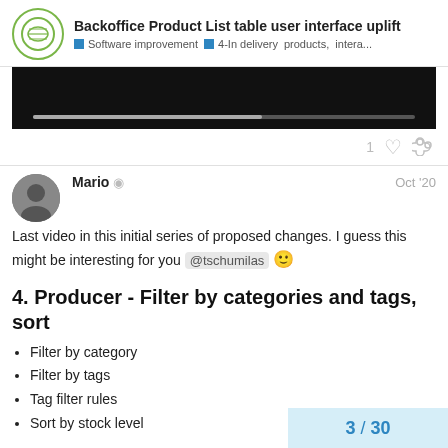Backoffice Product List table user interface uplift — Software improvement · 4-In delivery  products,  intera...
[Figure (screenshot): Video player with dark background and a grey progress bar]
1 ♡ 🔗
Mario 🛡 Oct '20
Last video in this initial series of proposed changes. I guess this might be interesting for you @tschumilas 🙂
4. Producer - Filter by categories and tags, sort
Filter by category
Filter by tags
Tag filter rules
Sort by stock level
3 / 30